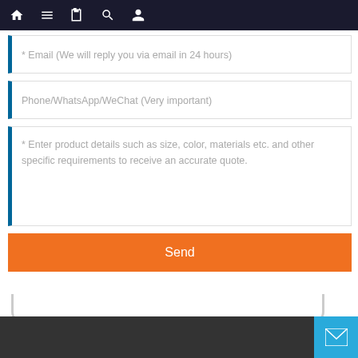[Figure (screenshot): Website navigation bar with dark background showing home, menu, book, search, and profile icons]
* Email (We will reply you via email in 24 hours)
Phone/WhatsApp/WeChat (Very important)
* Enter product details such as size, color, materials etc. and other specific requirements to receive an accurate quote.
Send